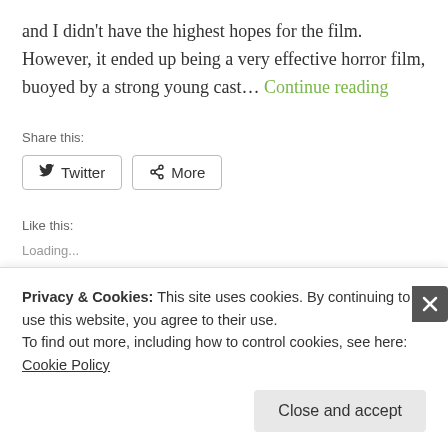and I didn't have the highest hopes for the film. However, it ended up being a very effective horror film, buoyed by a strong young cast… Continue reading
Share this:
Twitter   More
Like this:
Loading...
Privacy & Cookies: This site uses cookies. By continuing to use this website, you agree to their use. To find out more, including how to control cookies, see here: Cookie Policy
Close and accept